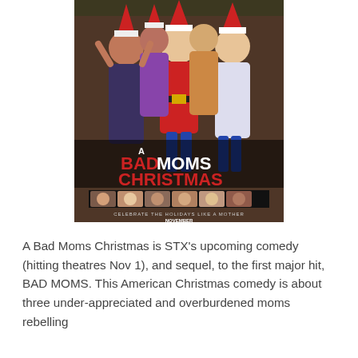[Figure (photo): Movie poster for 'A Bad Moms Christmas' showing several women in festive attire with Santa Claus, along with cast headshots and the tagline 'Celebrate the Holidays Like a Mother' and 'November' release date.]
A Bad Moms Christmas is STX's upcoming comedy (hitting theatres Nov 1), and sequel, to the first major hit, BAD MOMS. This American Christmas comedy is about three under-appreciated and overburdened moms rebelling